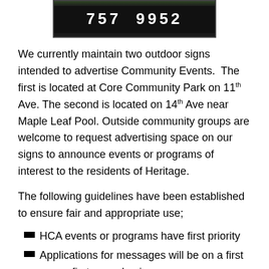[Figure (photo): Outdoor sign displaying the number 757 9952 on a dark background]
We currently maintain two outdoor signs intended to advertise Community Events. The first is located at Core Community Park on 11th Ave. The second is located on 14th Ave near Maple Leaf Pool. Outside community groups are welcome to request advertising space on our signs to announce events or programs of interest to the residents of Heritage.
The following guidelines have been established to ensure fair and appropriate use;
HCA events or programs have first priority
Applications for messages will be on a first come, first serve basis.